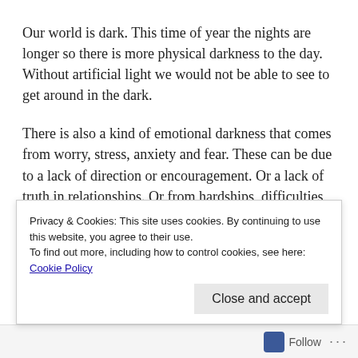Our world is dark.  This time of year the nights are longer so there is more physical darkness to the day.  Without artificial light we would not be able to see to get around in the dark.
There is also a kind of emotional darkness that comes from worry, stress, anxiety and fear.  These can be due to a lack of direction or encouragement.  Or a lack of truth in relationships.  Or from hardships, difficulties and tragedies we endure.
And there is also a spiritual darkness that seems to
Privacy & Cookies: This site uses cookies. By continuing to use this website, you agree to their use.
To find out more, including how to control cookies, see here: Cookie Policy
Close and accept
Follow